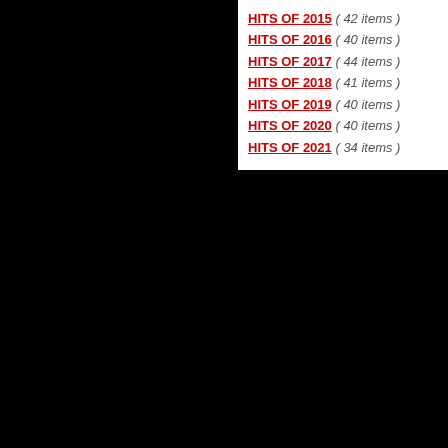HITS OF 2015  ( 42 items )
HITS OF 2016  ( 40 items )
HITS OF 2017  ( 44 items )
HITS OF 2018  ( 41 items )
HITS OF 2019  ( 40 items )
HITS OF 2020  ( 40 items )
HITS OF 2021  ( 34 items )